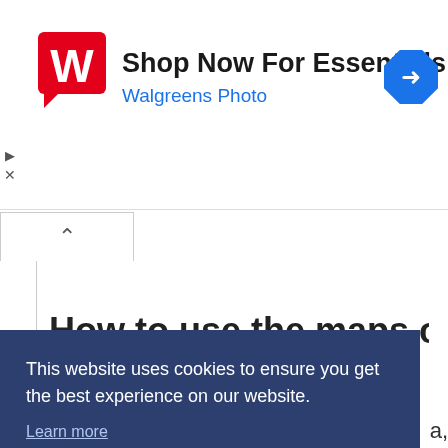[Figure (screenshot): Walgreens Photo advertisement banner with red W logo, 'Shop Now For Essentials' headline, 'Walgreens Photo' subtitle in blue, and a blue navigation arrow icon on the right. Small play and close ad controls on the left side.]
[Figure (screenshot): Cookie consent overlay popup with dark navy background. Text reads 'This website uses cookies to ensure you get the best experience on our website.' with a 'Learn more' link and a white 'Got it' button.]
guide.